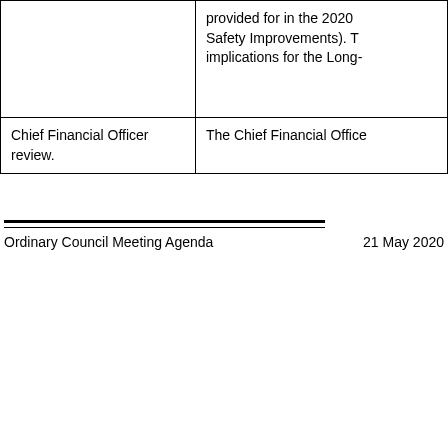|  | provided for in the 2020 Safety Improvements). T implications for the Long- |
| Chief Financial Officer review. | The Chief Financial Office |
Ordinary Council Meeting Agenda    21 May 2020